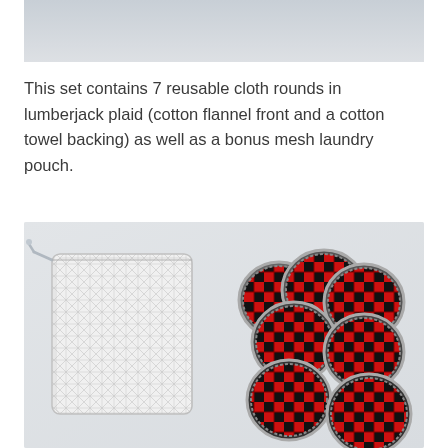[Figure (photo): Top portion of a product photo, light gray background, partially cropped]
This set contains 7 reusable cloth rounds in lumberjack plaid (cotton flannel front and a cotton towel backing) as well as a bonus mesh laundry pouch.
[Figure (photo): Product photo showing a white mesh laundry pouch on the left and 7 red and black buffalo plaid reusable cloth rounds with silver/gray stitched edges on the right, all on a light gray background]